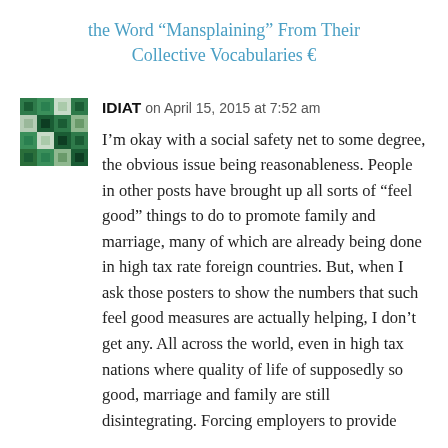the Word “Mansplaining” From Their Collective Vocabularies 💬
IDIAT on April 15, 2015 at 7:52 am

I'm okay with a social safety net to some degree, the obvious issue being reasonableness. People in other posts have brought up all sorts of “feel good” things to do to promote family and marriage, many of which are already being done in high tax rate foreign countries. But, when I ask those posters to show the numbers that such feel good measures are actually helping, I don’t get any. All across the world, even in high tax nations where quality of life of supposedly so good, marriage and family are still disintegrating. Forcing employers to provide